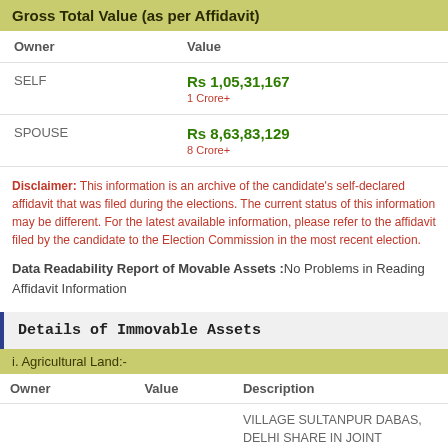Gross Total Value (as per Affidavit)
| Owner | Value |
| --- | --- |
| SELF | Rs 1,05,31,167
1 Crore+ |
| SPOUSE | Rs 8,63,83,129
8 Crore+ |
Disclaimer: This information is an archive of the candidate’s self-declared affidavit that was filed during the elections. The current status of this information may be different. For the latest available information, please refer to the affidavit filed by the candidate to the Election Commission in the most recent election.
Data Readability Report of Movable Assets :No Problems in Reading Affidavit Information
Details of Immovable Assets
i. Agricultural Land:-
| Owner | Value | Description |
| --- | --- | --- |
|  |  | VILLAGE SULTANPUR DABAS, DELHI SHARE IN JOINT PROPERTY OUT OF 1/4 SHARE OF |